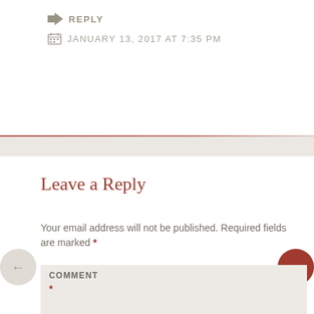REPLY
JANUARY 13, 2017 AT 7:35 PM
Leave a Reply
Your email address will not be published. Required fields are marked *
COMMENT
*